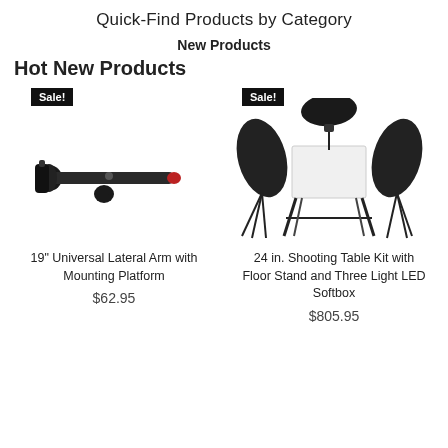Quick-Find Products by Category
New Products
Hot New Products
[Figure (photo): 19 inch Universal Lateral Arm with Mounting Platform product photo, Sale! badge]
19" Universal Lateral Arm with Mounting Platform
$62.95
[Figure (photo): 24 in. Shooting Table Kit with Floor Stand and Three Light LED Softbox product photo, Sale! badge]
24 in. Shooting Table Kit with Floor Stand and Three Light LED Softbox
$805.95